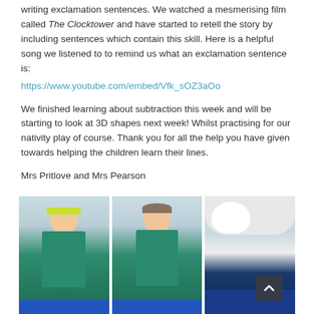writing exclamation sentences. We watched a mesmerising film called The Clocktower and have started to retell the story by including sentences which contain this skill. Here is a helpful song we listened to to remind us what an exclamation sentence is:
https://www.youtube.com/embed/Vfk_sOZ3aOo

We finished learning about subtraction this week and will be starting to look at 3D shapes next week! Whilst practising for our nativity play of course. Thank you for all the help you have given towards helping the children learn their lines.

Mrs Pritlove and Mrs Pearson
[Figure (photo): Three photos of primary school children in green school uniforms sitting at desks. Left photo shows a girl with a yellow headband writing. Middle photo shows a boy writing at a desk. Right photo shows a child leaning over a book/worksheet.]